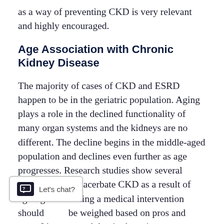as a way of preventing CKD is very relevant and highly encouraged.
Age Association with Chronic Kidney Disease
The majority of cases of CKD and ESRD happen to be in the geriatric population. Aging plays a role in the declined functionality of many organ systems and the kidneys are no different. The decline begins in the middle-aged population and declines even further as age progresses. Research studies show several comorbidities exacerbate CKD as a result of aging. Providing a medical intervention should be weighed based on pros and cons. It's suggested that in the aging